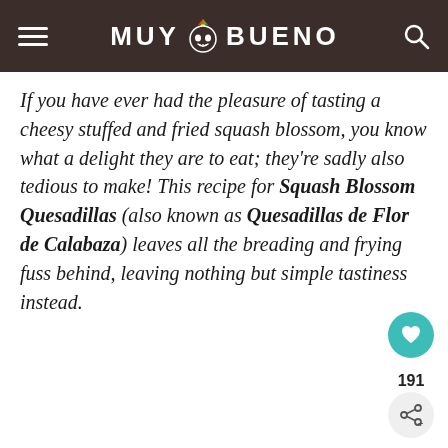MUY BUENO
If you have ever had the pleasure of tasting a cheesy stuffed and fried squash blossom, you know what a delight they are to eat; they're sadly also tedious to make! This recipe for Squash Blossom Quesadillas (also known as Quesadillas de Flor de Calabaza) leaves all the breading and frying fuss behind, leaving nothing but simple tastiness instead.